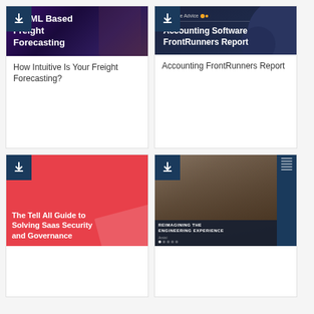[Figure (illustration): Book cover for AI/ML Based Freight Forecasting with dark purple background and port/ship imagery, download badge in top-left corner]
How Intuitive Is Your Freight Forecasting?
[Figure (illustration): Book cover for Accounting Software FrontRunners Report by Software Advice, dark navy background with blob shape, download badge in top-left corner]
Accounting FrontRunners Report
[Figure (illustration): Book cover for The Tell All Guide to Solving Saas Security and Governance, red/coral background with book imagery, download badge in top-left corner]
[Figure (photo): Cover image showing people in a business meeting with Reimagining the Engineering Experience title, download badge in top-left corner]